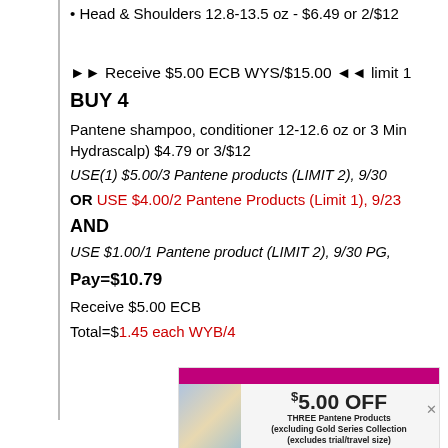Head & Shoulders 12.8-13.5 oz - $6.49 or 2/$12
►► Receive $5.00 ECB WYS/$15.00 ◄◄ limit 1
BUY 4
Pantene shampoo, conditioner 12-12.6 oz or 3 Min Hydrascalp) $4.79 or 3/$12
USE(1) $5.00/3 Pantene products (LIMIT 2), 9/30
OR USE $4.00/2 Pantene Products (Limit 1), 9/23
AND
USE $1.00/1 Pantene product (LIMIT 2), 9/30 PG,
Pay=$10.79
Receive $5.00 ECB
Total=$1.45 each WYB/4
[Figure (photo): Coupon for $5.00 OFF THREE Pantene Products (excluding Gold Series Collection, excludes trial/travel size)]